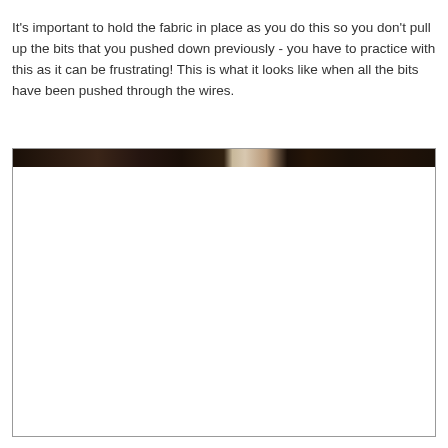It's important to hold the fabric in place as you do this so you don't pull up the bits that you pushed down previously - you have to practice with this as it can be frustrating! This is what it looks like when all the bits have been pushed through the wires.
[Figure (photo): A mostly white image with a dark strip at the top showing fabric pushed through wires, demonstrating the result when all fabric bits have been pushed through.]